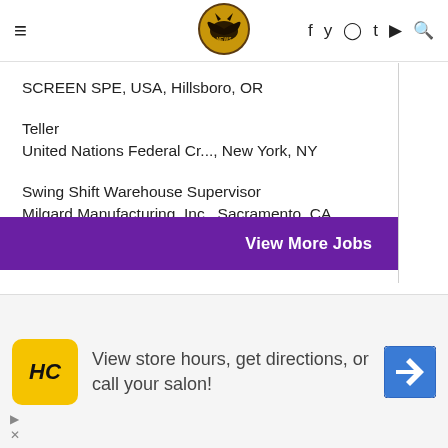Dark Knight News — Navigation bar with hamburger menu, logo, and social icons (f, y, instagram, t, youtube, search)
SCREEN SPE, USA, Hillsboro, OR
Teller
United Nations Federal Cr..., New York, NY
Swing Shift Warehouse Supervisor
Milgard Manufacturing, Inc., Sacramento, CA
View More Jobs
[Figure (screenshot): Chevron down collapse button]
[Figure (infographic): Advertisement banner: HC logo (yellow/black), text 'View store hours, get directions, or call your salon!', blue navigation arrow icon, with play/close controls at bottom left]